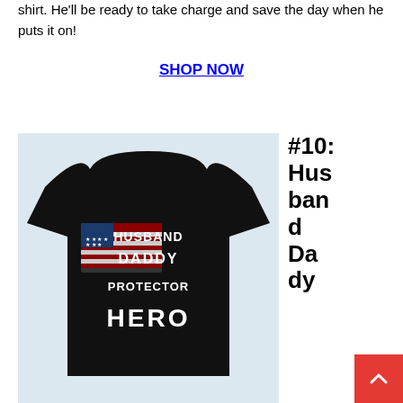shirt. He'll be ready to take charge and save the day when he puts it on!
SHOP NOW
[Figure (photo): Black t-shirt with text 'HUSBAND DADDY PROTECTOR HERO' and an American flag graphic on a light blue background]
#10: Husband Daddy